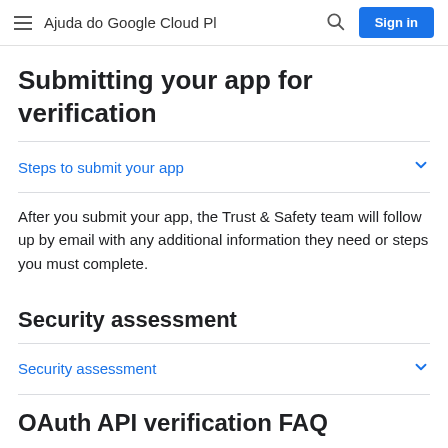≡  Ajuda do Google Cloud Pl  🔍  Sign in
Submitting your app for verification
Steps to submit your app
After you submit your app, the Trust & Safety team will follow up by email with any additional information they need or steps you must complete.
Security assessment
Security assessment
OAuth API verification FAQ
This section has answers to frequently asked